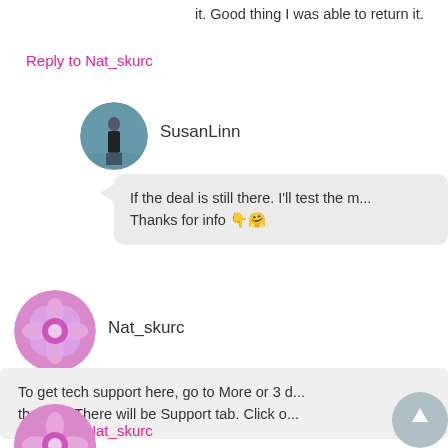it. Good thing I was able to return it.
Reply to Nat_skurc
SusanLinn
If the deal is still there. I'll test the m... Thanks for info 👇🤗
Nat_skurc
To get tech support here, go to More or 3 d... the app. There will be Support tab. Click o...
Reply to Nat_skurc